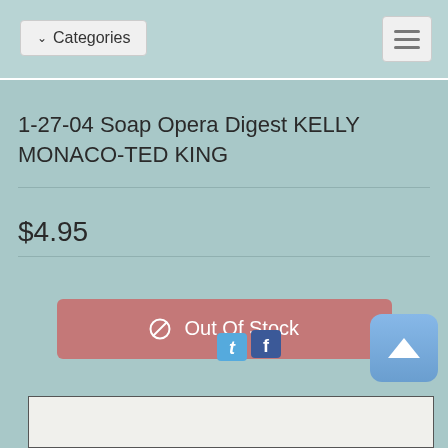Categories
1-27-04 Soap Opera Digest KELLY MONACO-TED KING
$4.95
Out Of Stock